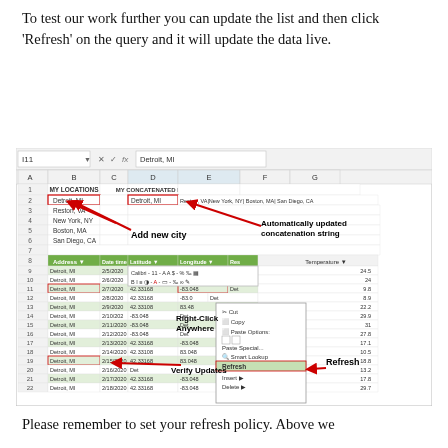To test our work further you can update the list and then click ‘Refresh’ on the query and it will update the data live.
[Figure (screenshot): Excel spreadsheet screenshot showing MY LOCATIONS and MY CONCATENATED LIST columns, with a context menu showing Refresh option, and annotations: 'Add new city', 'Automatically updated concatenation string', 'Right-Click Anywhere', 'Verify Updates', 'Refresh']
Please remember to set your refresh policy.   Above we